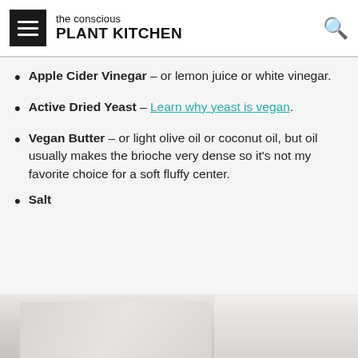the conscious PLANT KITCHEN
Apple Cider Vinegar – or lemon juice or white vinegar.
Active Dried Yeast – Learn why yeast is vegan.
Vegan Butter – or light olive oil or coconut oil, but oil usually makes the brioche very dense so it's not my favorite choice for a soft fluffy center.
Salt
[Figure (photo): Bottom portion of page showing a blurred food/kitchen background image]